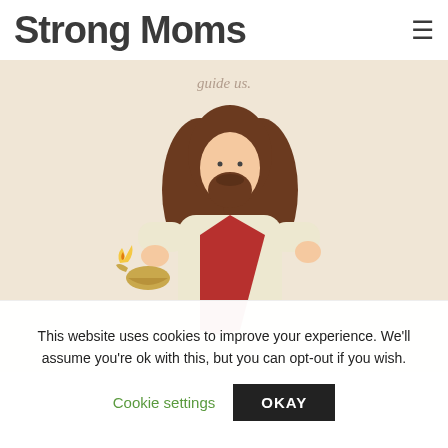Strong Moms
[Figure (illustration): Cartoon illustration of Jesus figure holding an oil lamp with a flame, wearing a red sash over a cream robe, with long brown hair and beard. Partially visible cursive text above.]
This website uses cookies to improve your experience. We'll assume you're ok with this, but you can opt-out if you wish.
Cookie settings  OKAY